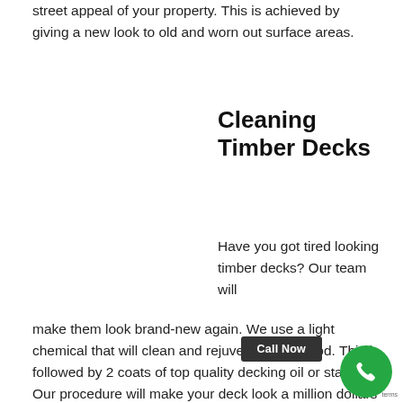street appeal of your property. This is achieved by giving a new look to old and worn out surface areas.
Cleaning Timber Decks
Have you got tired looking timber decks? Our team will make them look brand-new again. We use a light chemical that will clean and rejuvenate the wood. This is followed by 2 coats of top quality decking oil or stain. Our procedure will make your deck look a million dollars and leave you genuinely impressed by the results!
Don't let beginners practice on your biggest investment. Our professional group of specialists have years worth of experience, so we understand what we are doing. For your comfort we guarantee all of our work and even...